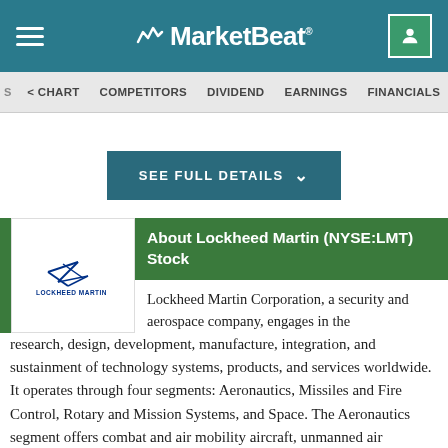MarketBeat
< CHART  COMPETITORS  DIVIDEND  EARNINGS  FINANCIALS  INSIDER TR
SEE FULL DETAILS
About Lockheed Martin (NYSE:LMT) Stock
Lockheed Martin Corporation, a security and aerospace company, engages in the research, design, development, manufacture, integration, and sustainment of technology systems, products, and services worldwide. It operates through four segments: Aeronautics, Missiles and Fire Control, Rotary and Mission Systems, and Space. The Aeronautics segment offers combat and air mobility aircraft, unmanned air